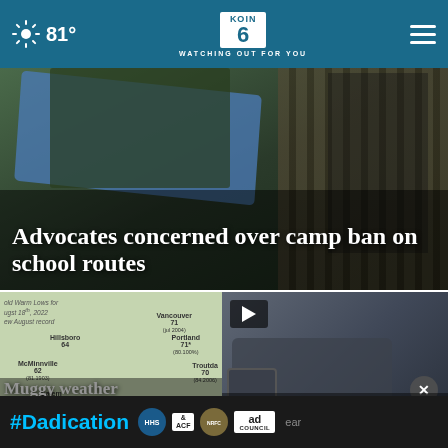81° | KOIN 6 CBS | WATCHING OUT FOR YOU
[Figure (photo): Hero image with blue tarp tent and wooden fence in background]
Advocates concerned over camp ban on school routes
[Figure (map): Weather map of Oregon/Washington region showing cities: Vancouver 71, Portland 71, Hillsboro 64, McMinnville 62, Troutdale 70, Salem 84. Warm Lows August 18th 2022, New August record]
Muggy weather breaks any temperature records
[Figure (photo): Dark SUV/car close-up with video play button overlay, DEVELOPING label, Hillsboro text]
DEVELOPING: Hillsboro
#Dadication ad banner with HHS, ACF, National Responsible Fatherhood Clearinghouse, Ad Council logos